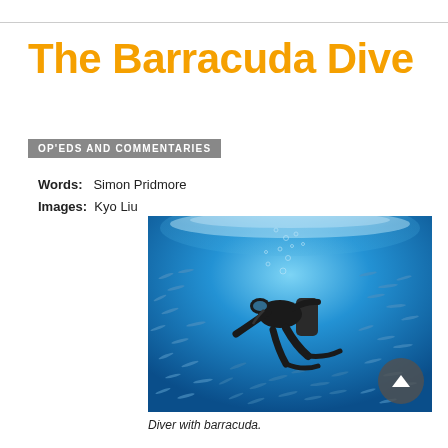The Barracuda Dive
OP'EDS AND COMMENTARIES
Words: Simon Pridmore
Images: Kyo Liu
[Figure (photo): Underwater photograph of a scuba diver surrounded by a large school of barracuda fish in clear blue water, viewed from below with sunlight filtering through the surface.]
Diver with barracuda.